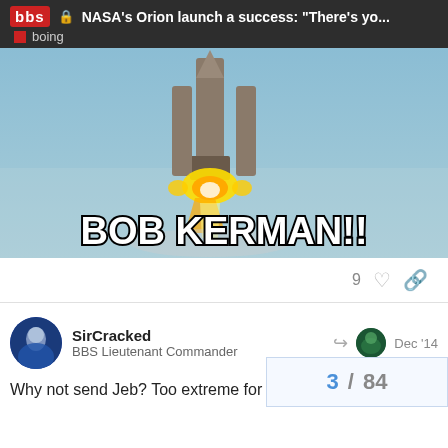NASA's Orion launch a success: "There's yo... | boing
[Figure (photo): Rocket launching with bright engine fire against a blue-grey sky, with meme text 'BOB KERMAN!!' overlaid in large white Impact font with black outline]
9
SirCracked
BBS Lieutenant Commander
Dec '14
Why not send Jeb? Too extreme for you?
3 / 84